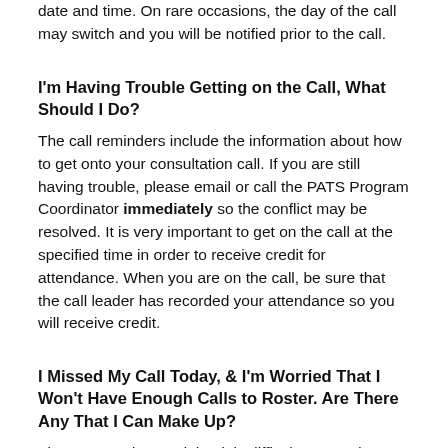date and time. On rare occasions, the day of the call may switch and you will be notified prior to the call.
I'm Having Trouble Getting on the Call, What Should I Do?
The call reminders include the information about how to get onto your consultation call. If you are still having trouble, please email or call the PATS Program Coordinator immediately so the conflict may be resolved. It is very important to get on the call at the specified time in order to receive credit for attendance. When you are on the call, be sure that the call leader has recorded your attendance so you will receive credit.
I Missed My Call Today, & I'm Worried That I Won't Have Enough Calls to Roster. Are There Any That I Can Make Up?
First – we understand that it is difficult to attend every call, as scheduled. Each group will hold 14 calls to allow for participants to miss 2 calls and still meet the 12 required. While we encourage you to attend the calls for your designated group, you are still welcome to make up a call with another group. It is helpful for you